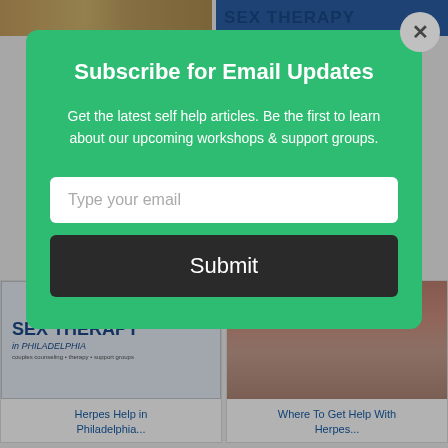[Figure (screenshot): Partial view of a website page showing article cards and a modal email subscription overlay. Top shows partial images; bottom shows two article cards: 'Herpes Help in Philadelphia...' and 'Where To Get Help With Herpes...']
Subscribe for Email Updates
Get the latest self help articles. Be the first to learn about our upcoming workshops & support groups.
Type your email
Submit
Herpes Help in Philadelphia...
Where To Get Help With Herpes...